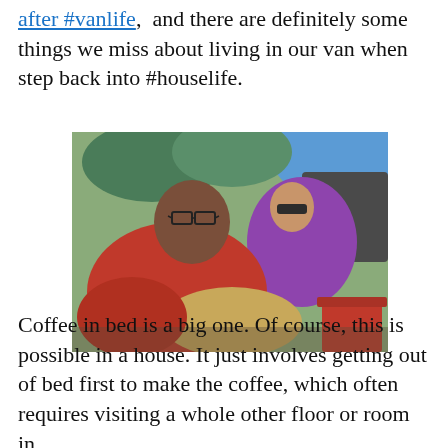after #vanlife, and there are definitely some things we miss about living in our van when step back into #houselife.
[Figure (photo): Two people sitting outdoors in camp chairs. A man in a red shirt is in the foreground on the left, and a woman in a purple sweater with sunglasses is in the background on the right. Trees and a blue surface are visible.]
Coffee in bed is a big one. Of course, this is possible in a house. It just involves getting out of bed first to make the coffee, which often requires visiting a whole other floor or room in